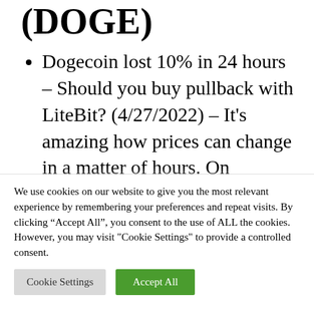(DOGE)
Dogecoin lost 10% in 24 hours – Should you buy pullback with LiteBit? (4/27/2022) – It's amazing how prices can change in a matter of hours. On Monday, Elon Musk's Twitter purchase rumors sent Dogecoin (DOGE) near annual highs. As of Tuesday night, Musk's favorite [text continues below fold]
We use cookies on our website to give you the most relevant experience by remembering your preferences and repeat visits. By clicking "Accept All", you consent to the use of ALL the cookies. However, you may visit "Cookie Settings" to provide a controlled consent.